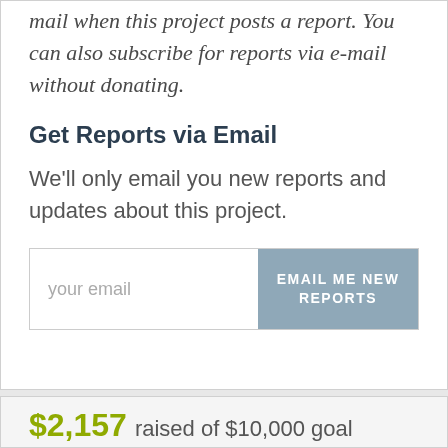mail when this project posts a report. You can also subscribe for reports via e-mail without donating.
Get Reports via Email
We'll only email you new reports and updates about this project.
your email  |  EMAIL ME NEW REPORTS
$2,157 raised of $10,000 goal